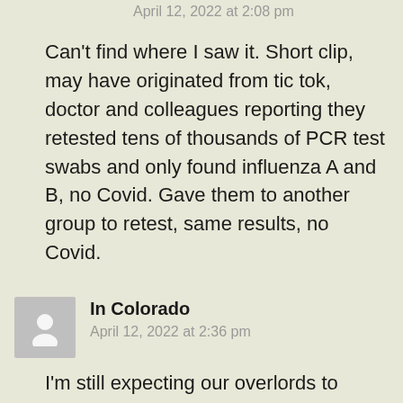April 12, 2022 at 2:08 pm
Can't find where I saw it. Short clip, may have originated from tic tok, doctor and colleagues reporting they retested tens of thousands of PCR test swabs and only found influenza A and B, no Covid. Gave them to another group to retest, same results, no Covid.
In Colorado
April 12, 2022 at 2:36 pm
I'm still expecting our overlords to